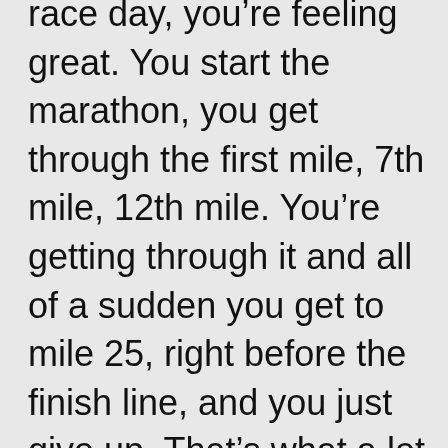race day, you're feeling great. You start the marathon, you get through the first mile, 7th mile, 12th mile. You're getting through it and all of a sudden you get to mile 25, right before the finish line, and you just give up. That's what a lot of people do, is they get so close to the finish line,